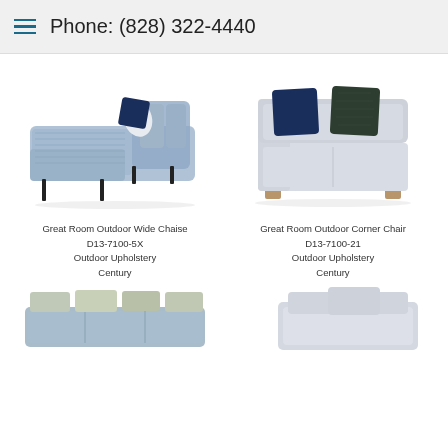Phone: (828) 322-4440
[Figure (photo): Great Room Outdoor Wide Chaise - blue/grey woven sectional chaise lounge with navy and white pillows, black metal legs]
Great Room Outdoor Wide Chaise
D13-7100-5X
Outdoor Upholstery
Century
[Figure (photo): Great Room Outdoor Corner Chair - light grey upholstered corner chair with navy blue and botanical print pillows, wood block feet]
Great Room Outdoor Corner Chair
D13-7100-21
Outdoor Upholstery
Century
[Figure (photo): Partial view of bottom-left outdoor sofa with cushions]
[Figure (photo): Partial view of bottom-right outdoor furniture piece with light grey cushions]